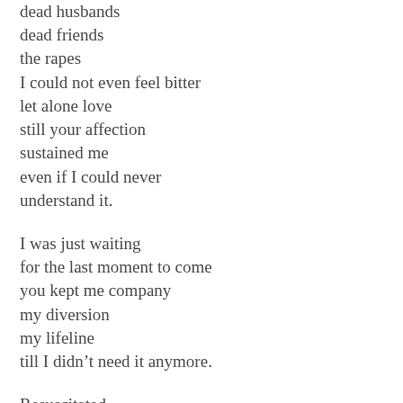dead husbands
dead friends
the rapes
I could not even feel bitter
let alone love
still your affection
sustained me
even if I could never
understand it.

I was just waiting
for the last moment to come
you kept me company
my diversion
my lifeline
till I didn't need it anymore.

Resuscitated
I walked away
maybe at the lowest